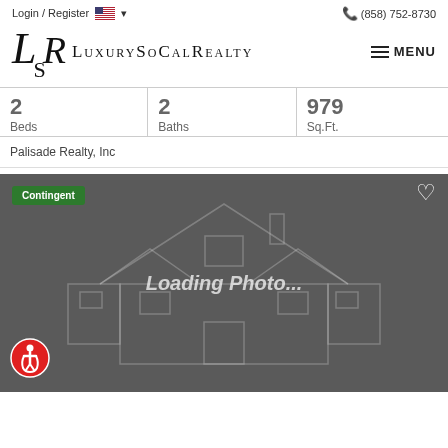Login / Register  (858) 752-8730
[Figure (logo): LuxurySoCalRealty logo with stylized LSR monogram and brand name]
| Beds | Baths | Sq.Ft. |
| --- | --- | --- |
| 2 | 2 | 979 |
Palisade Realty, Inc
[Figure (photo): Listing card with dark gray background, house outline watermark, 'Loading Photo...' text, Contingent badge, heart icon, and accessibility icon]